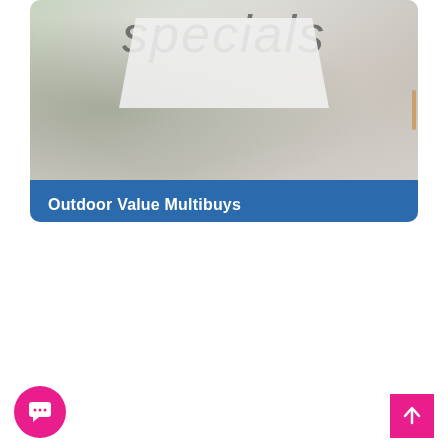[Figure (photo): Promotional card showing an outdoor lifestyle image with blurred background and white furniture surface. Large light-grey italic text reads 'specials' across the top. A blue rounded-rectangle banner at the bottom of the card reads 'Outdoor Value Multibuys' in white bold text.]
Outdoor Value Multibuys
[Figure (illustration): Pink circular chat/messaging button icon at bottom-left of page.]
[Figure (illustration): Pink square scroll-to-top button with upward arrow icon at bottom-right of page.]